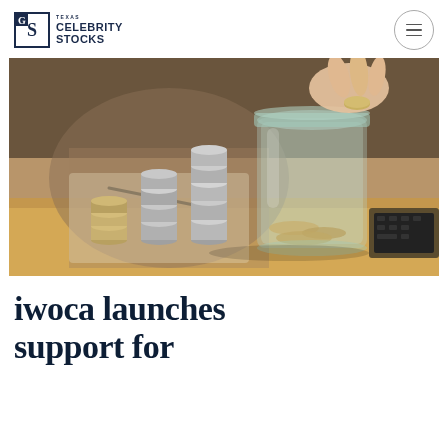Celebrity Stocks
[Figure (photo): Person dropping a coin into a glass jar surrounded by stacks of coins on a wooden table, with someone writing in the background]
iwoca launches support for